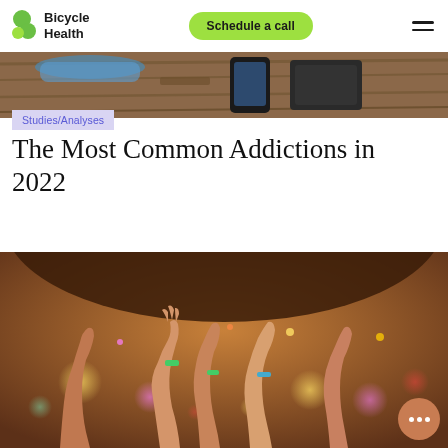Bicycle Health | Schedule a call
[Figure (photo): Top hero image: wooden table with wallet, phone and blue mask items from above]
Studies/Analyses
The Most Common Addictions in 2022
[Figure (photo): Crowd of people at concert raising hands with colorful wristbands and bokeh festival lights in background]